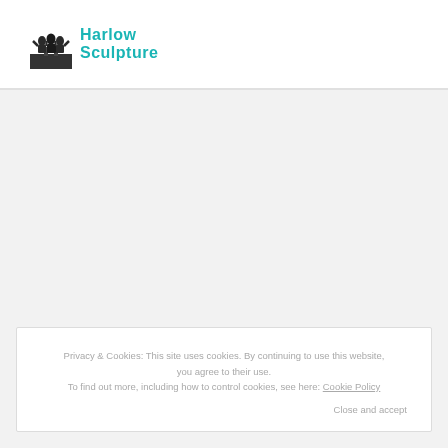[Figure (logo): Harlow Sculpture logo with dark sculpture icon and teal text reading 'Harlow Sculpture']
Privacy & Cookies: This site uses cookies. By continuing to use this website, you agree to their use. To find out more, including how to control cookies, see here: Cookie Policy
Close and accept